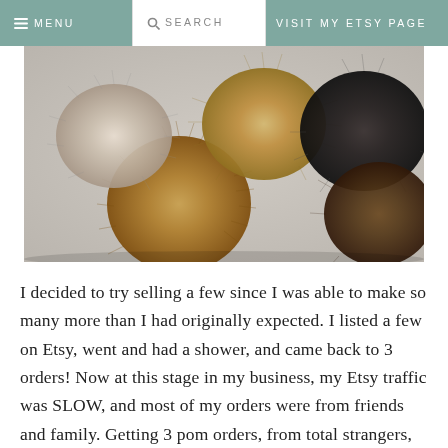≡ MENU   🔍 SEARCH   VISIT MY ETSY PAGE
[Figure (photo): A collection of fluffy faux fur pom poms in various colors including tan/brown, black, grey/white, and dark brown, arranged overlapping each other on a light grey background.]
I decided to try selling a few since I was able to make so many more than I had originally expected. I listed a few on Etsy, went and had a shower, and came back to 3 orders! Now at this stage in my business, my Etsy traffic was SLOW, and most of my orders were from friends and family. Getting 3 pom orders, from total strangers, within the first hour or so from listing them was